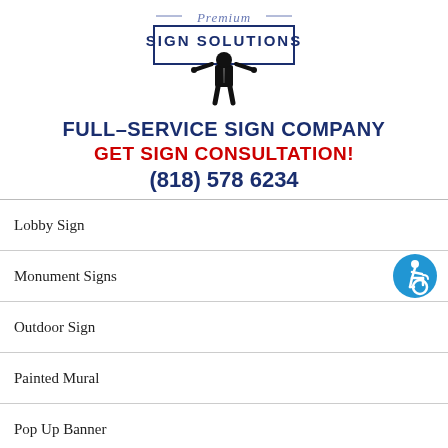[Figure (logo): Premium Sign Solutions logo: italic script 'Premium' above bold text 'SIGN SOLUTIONS' in a rectangular border, with a silhouette of a man in a suit holding up the sign]
FULL-SERVICE SIGN COMPANY
GET SIGN CONSULTATION!
(818) 578 6234
Lobby Sign
Monument Signs
Outdoor Sign
Painted Mural
Pop Up Banner
Pylon Sign
Trade Show Graphics
Uncategorized